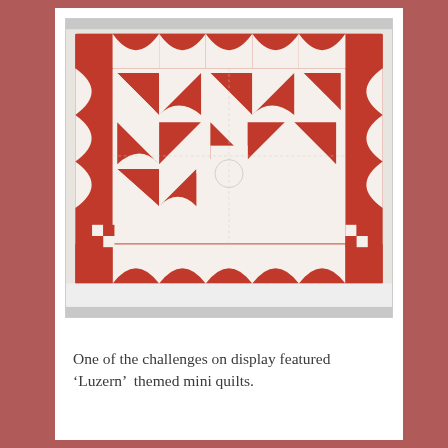[Figure (photo): A red and white quilt with a 'Luzern' themed mini quilt pattern, featuring pinwheel and curved patchwork designs with a decorative border, hanging on a white wall.]
One of the challenges on display featured 'Luzern'  themed mini quilts.